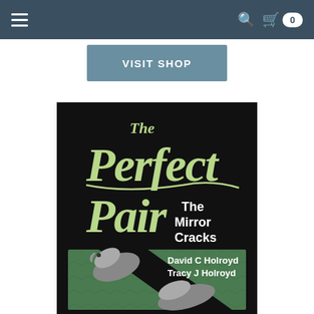Navigation bar with hamburger menu, search icon, cart icon, and badge showing 0
VISIT SHOP
[Figure (illustration): Book cover for 'The Perfect Pair: The Mirror Cracks' by David C Holroyd and Tracy J Holroyd. Black background with large light green decorative title text 'The Perfect Pair' and white subtitle 'The Mirror Cracks'. Lower half shows a green underwater scene with two dolphins separated by a diagonal black stripe. Authors' names in white bold text.]